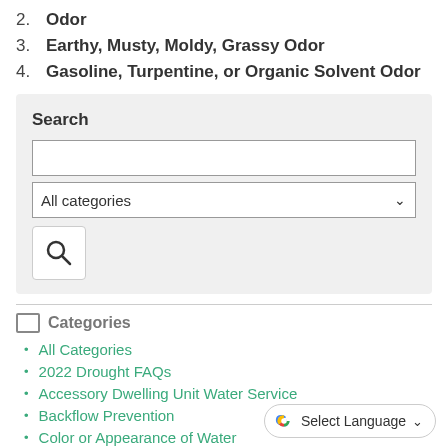2. Odor
3. Earthy, Musty, Moldy, Grassy Odor
4. Gasoline, Turpentine, or Organic Solvent Odor
Search
All categories dropdown
Categories
All Categories
2022 Drought FAQs
Accessory Dwelling Unit Water Service
Backflow Prevention
Color or Appearance of Water
Commercial Multi-Family Treated Water Services
Costs & Fees
Designing Your Water Service
EasyPay